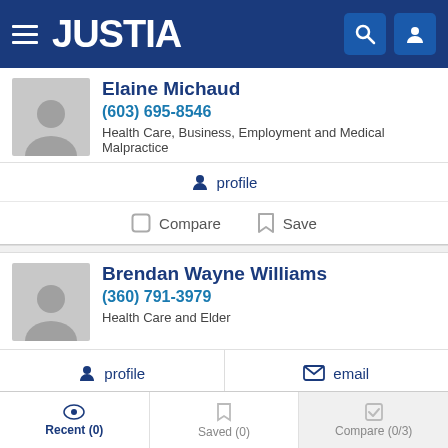JUSTIA
Elaine Michaud
(603) 695-8546
Health Care, Business, Employment and Medical Malpractice
profile
Compare   Save
Brendan Wayne Williams
(360) 791-3979
Health Care and Elder
profile   email
Compare   Save
Recent (0)   Saved (0)   Compare (0/3)